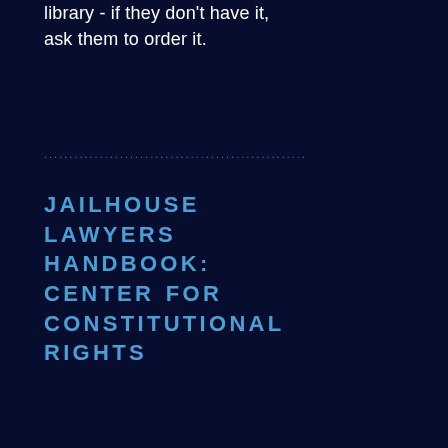library - if they don't have it, ask them to order it.
....................................................
JAILHOUSE LAWYERS HANDBOOK: CENTER FOR CONSTITUTIONAL RIGHTS